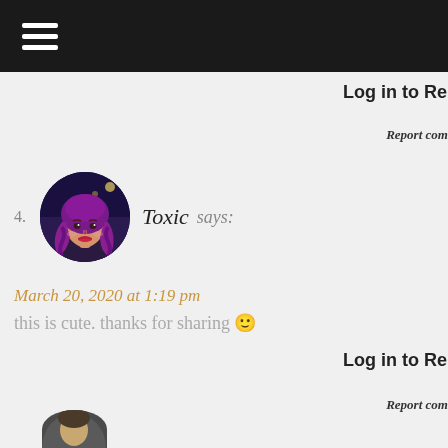Log in to Rep
Report comm
4. Toxic says: March 20, 2020 at 1:19 pm — this is cute. thanks for sharing 🙂
Log in to Rep
Report comm